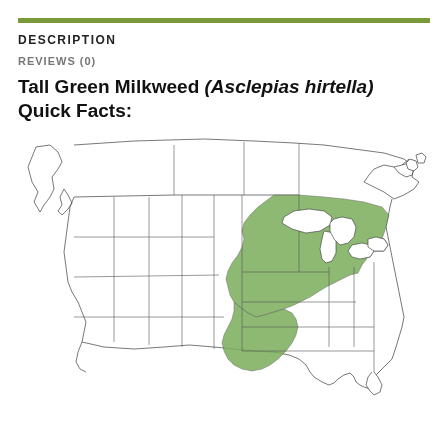DESCRIPTION
REVIEWS (0)
Tall Green Milkweed (Asclepias hirtella) Quick Facts:
[Figure (map): Distribution map of Tall Green Milkweed (Asclepias hirtella) across North America, showing the plant's native range highlighted in green, covering the upper Midwest and Great Lakes region of the United States and extending into Ontario, Canada, plus parts of the central US south to the Gulf Coast states.]